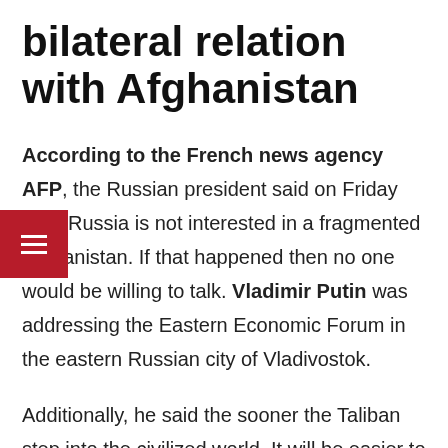bilateral relation with Afghanistan
According to the French news agency AFP, the Russian president said on Friday that "Russia is not interested in a fragmented Afghanistan. If that happened then no one would be willing to talk. Vladimir Putin was addressing the Eastern Economic Forum in the eastern Russian city of Vladivostok.
Additionally, he said the sooner the Taliban step into the civilized world. It will be easier to communicate with them, and influence them to